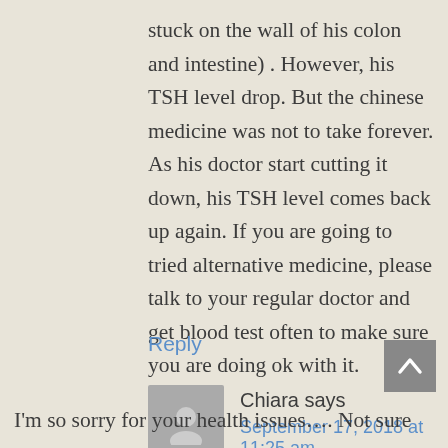stuck on the wall of his colon and intestine) . However, his TSH level drop. But the chinese medicine was not to take forever. As his doctor start cutting it down, his TSH level comes back up again. If you are going to tried alternative medicine, please talk to your regular doctor and get blood test often to make sure you are doing ok with it.
Reply
Chiara says
September 17, 2018 at 11:25 am
I'm so sorry for your health issues.... Not sure